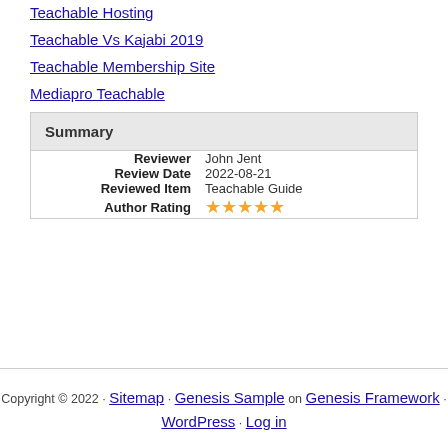Teachable Hosting
Teachable Vs Kajabi 2019
Teachable Membership Site
Mediapro Teachable
| Summary |
| --- |
| Reviewer | John Jent |
| Review Date | 2022-08-21 |
| Reviewed Item | Teachable Guide |
| Author Rating | ★★★★★ |
Copyright © 2022 · Sitemap · Genesis Sample on Genesis Framework · WordPress · Log in